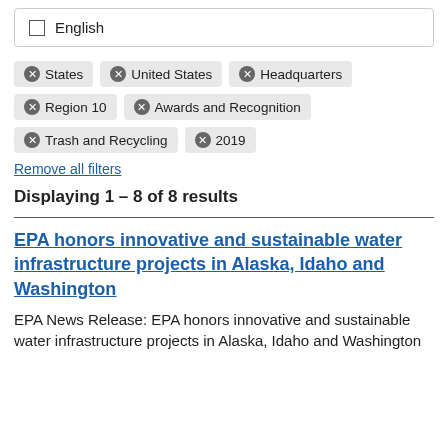English
⊗ States  ⊗ United States  ⊗ Headquarters  ⊗ Region 10  ⊗ Awards and Recognition  ⊗ Trash and Recycling  ⊗ 2019
Remove all filters
Displaying 1 – 8 of 8 results
EPA honors innovative and sustainable water infrastructure projects in Alaska, Idaho and Washington
EPA News Release: EPA honors innovative and sustainable water infrastructure projects in Alaska, Idaho and Washington